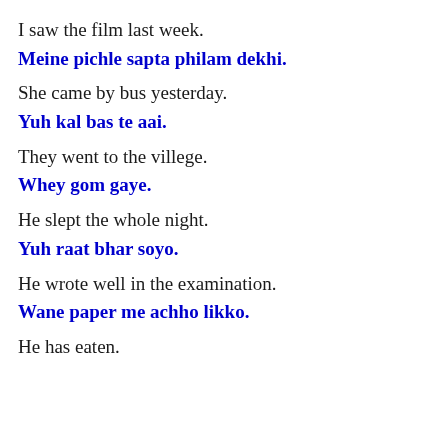I saw the film last week.
Meine pichle sapta philam dekhi.
She came by bus yesterday.
Yuh kal bas te aai.
They went to the villege.
Whey gom gaye.
He slept the whole night.
Yuh raat bhar soyo.
He wrote well in the examination.
Wane paper me achho likko.
He has eaten.